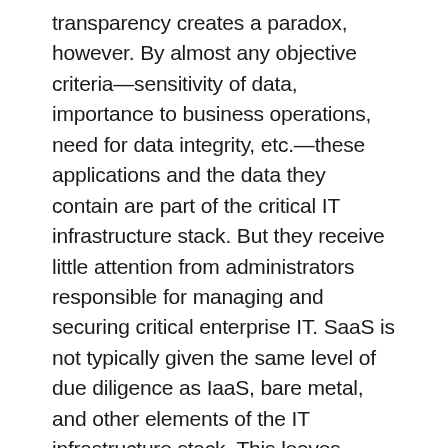transparency creates a paradox, however. By almost any objective criteria—sensitivity of data, importance to business operations, need for data integrity, etc.—these applications and the data they contain are part of the critical IT infrastructure stack. But they receive little attention from administrators responsible for managing and securing critical enterprise IT. SaaS is not typically given the same level of due diligence as IaaS, bare metal, and other elements of the IT infrastructure stack. This leaves organizations vulnerable to leaks and breaches that can compromise the integrity of sensitive information, disrupt operations and damage reputation and market value. We, as